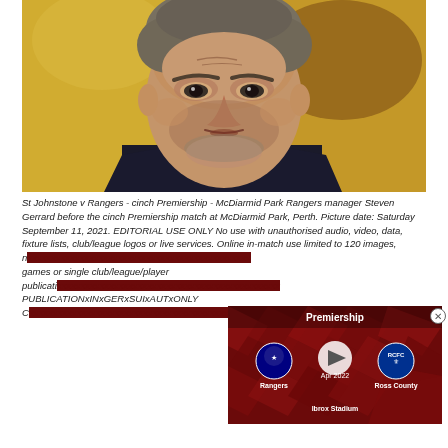[Figure (photo): Close-up photograph of Steven Gerrard (Rangers manager), a middle-aged man with short grey-brown hair wearing a dark suit and white shirt, photographed against a blurred golden/yellow background.]
St Johnstone v Rangers - cinch Premiership - McDiarmid Park Rangers manager Steven Gerrard before the cinch Premiership match at McDiarmid Park, Perth. Picture date: Saturday September 11, 2021. EDITORIAL USE ONLY No use with unauthorised audio, video, data, fixture lists, club/league logos or live services. Online in-match use limited to 120 images, no video emulation. No use in betting, games or single club/league/player publications. PUBLICATIONxINxGERxSUIxAUTxONLY C...
[Figure (screenshot): An overlay video card for a Premiership match: Rangers vs Ross County, with team badges, a play button, match date (Apr 2022), and venue (Ibrox Stadium). Dark red/maroon geometric background.]